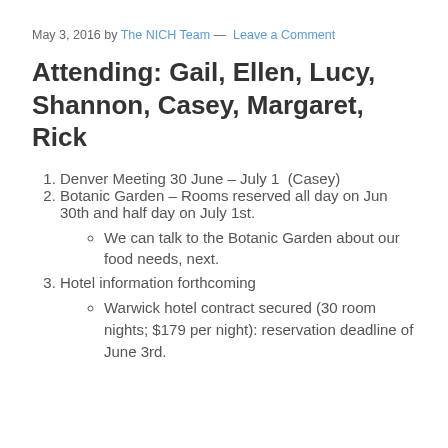May 3, 2016 by The NICH Team — Leave a Comment
Attending: Gail, Ellen, Lucy, Shannon, Casey, Margaret, Rick
Denver Meeting 30 June – July 1  (Casey)
Botanic Garden – Rooms reserved all day on Jun 30th and half day on July 1st.
We can talk to the Botanic Garden about our food needs, next.
Hotel information forthcoming
Warwick hotel contract secured (30 room nights; $179 per night): reservation deadline of June 3rd.